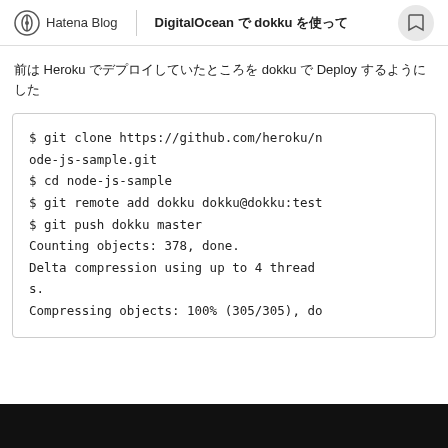Hatena Blog | DigitalOcean で dokku を使って
前は Heroku でデプロイしていたところを dokku で Deploy するようにした
$ git clone https://github.com/heroku/node-js-sample.git
$ cd node-js-sample
$ git remote add dokku dokku@dokku:test
$ git push dokku master
Counting objects: 378, done.
Delta compression using up to 4 threads.
Compressing objects: 100% (305/305), do